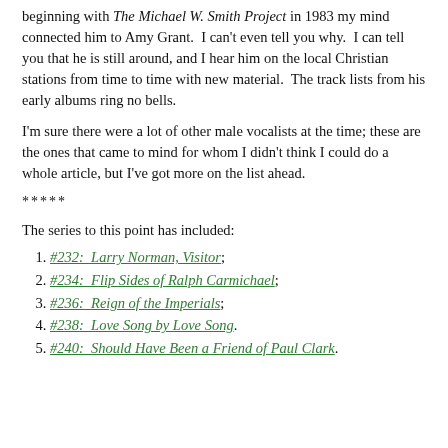beginning with The Michael W. Smith Project in 1983 my mind connected him to Amy Grant.  I can't even tell you why.  I can tell you that he is still around, and I hear him on the local Christian stations from time to time with new material.  The track lists from his early albums ring no bells.
I'm sure there were a lot of other male vocalists at the time; these are the ones that came to mind for whom I didn't think I could do a whole article, but I've got more on the list ahead.
*****
The series to this point has included:
#232:  Larry Norman, Visitor;
#234:  Flip Sides of Ralph Carmichael;
#236:  Reign of the Imperials;
#238:  Love Song by Love Song.
#240:  Should Have Been a Friend of Paul Clark.